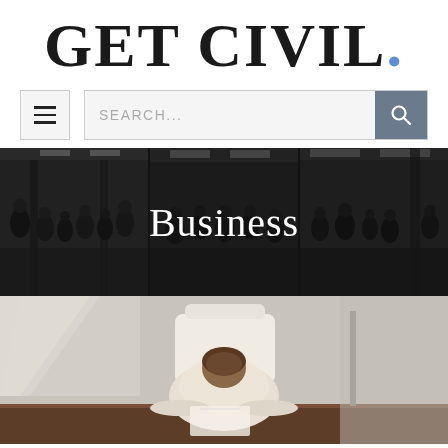GET CIVIL.
[Figure (screenshot): Navigation bar with hamburger menu button and search bar]
[Figure (photo): Dark banner image showing people in a public space, divided into three panels, with the word 'Business' overlaid in white serif text]
[Figure (photo): Office photo showing a person with head down at a desk, viewed from above]